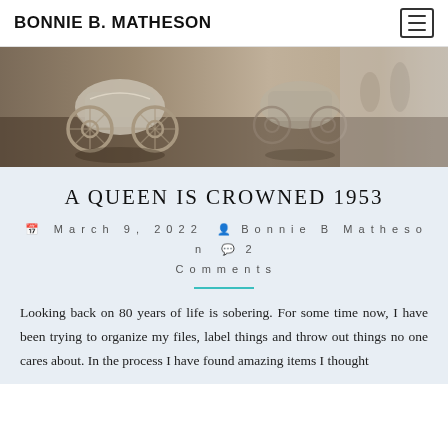BONNIE B. MATHESON
[Figure (photo): Vintage horse-drawn carriages with ornate wheels displayed on a dark reflective floor, photographed in a museum or exhibition setting.]
A QUEEN IS CROWNED 1953
March 9, 2022  Bonnie B Matheson  2 Comments
Looking back on 80 years of life is sobering. For some time now, I have been trying to organize my files, label things and throw out things no one cares about. In the process I have found amazing items I thought